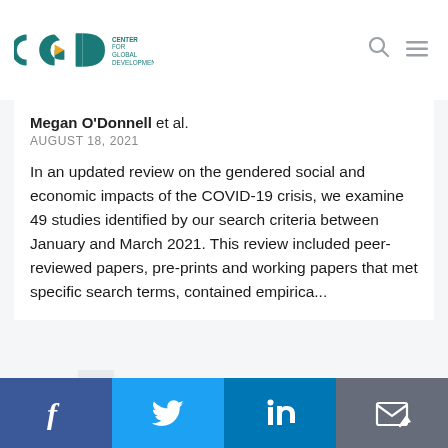[Figure (logo): Center for Global Development (CGD) logo with teal letters and gold arrow]
Megan O'Donnell et al.
AUGUST 18, 2021
In an updated review on the gendered social and economic impacts of the COVID-19 crisis, we examine 49 studies identified by our search criteria between January and March 2021. This review included peer-reviewed papers, pre-prints and working papers that met specific search terms, contained empirica...
1  2  3  4  5  6  7  »»
Last »